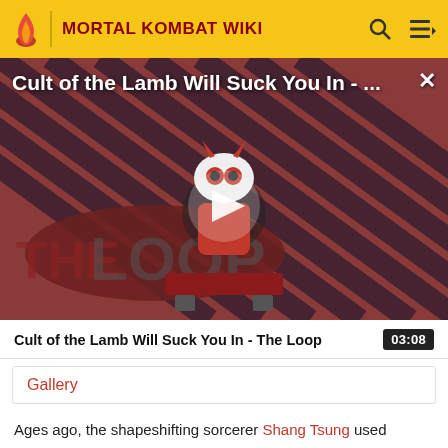MORTAL KOMBAT WIKI
[Figure (screenshot): Video thumbnail showing Cult of the Lamb game character on a striped red/dark background with 'THE LOOP' text overlay and a play button in the center]
Cult of the Lamb Will Suck You In - The Loop 03:08
Gallery
Ages ago, the shapeshifting sorcerer Shang Tsung used